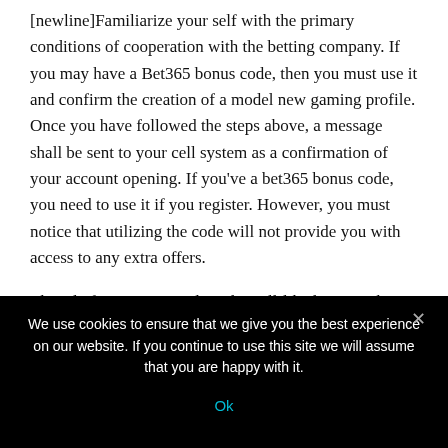[newline]Familiarize your self with the primary conditions of cooperation with the betting company. If you may have a Bet365 bonus code, then you must use it and confirm the creation of a model new gaming profile. Once you have followed the steps above, a message shall be sent to your cell system as a confirmation of your account opening. If you've a bet365 bonus code, you need to use it if you register. However, you must notice that utilizing the code will not provide you with access to any extra offers.
This platform is extraordinarily well-liked among these whose hobby is betting on sports, and every day, there are
We use cookies to ensure that we give you the best experience on our website. If you continue to use this site we will assume that you are happy with it.
Ok